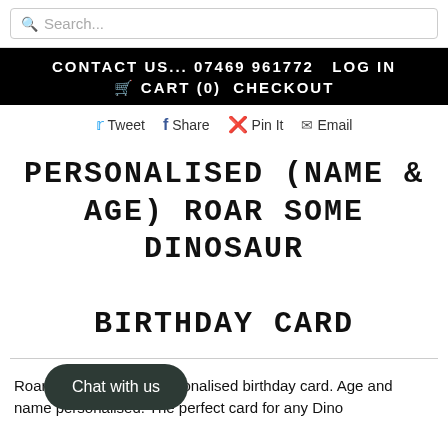Search...
CONTACT US... 07469 961772   LOG IN   CART (0)   CHECKOUT
Tweet  Share  Pin It  Email
PERSONALISED (NAME & AGE) ROAR SOME DINOSAUR BIRTHDAY CARD
Roar some dinosaur personalised birthday card. Age and name personalised. The perfect card for any Dino...
Chat with us